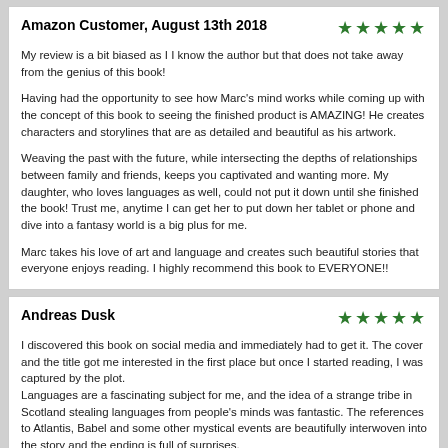Amazon Customer, August 13th 2018 ★★★★★
My review is a bit biased as I I know the author but that does not take away from the genius of this book!

Having had the opportunity to see how Marc's mind works while coming up with the concept of this book to seeing the finished product is AMAZING! He creates characters and storylines that are as detailed and beautiful as his artwork.

Weaving the past with the future, while intersecting the depths of relationships between family and friends, keeps you captivated and wanting more. My daughter, who loves languages as well, could not put it down until she finished the book! Trust me, anytime I can get her to put down her tablet or phone and dive into a fantasy world is a big plus for me.

Marc takes his love of art and language and creates such beautiful stories that everyone enjoys reading. I highly recommend this book to EVERYONE!!
Andreas Dusk ★★★★★
I discovered this book on social media and immediately had to get it. The cover and the title got me interested in the first place but once I started reading, I was captured by the plot.
Languages are a fascinating subject for me, and the idea of a strange tribe in Scotland stealing languages from people's minds was fantastic. The references to Atlantis, Babel and some other mystical events are beautifully interwoven into the story and the ending is full of surprises.
Of course, it is a young adult story and so there had to be a teenage love story involved, but I am glad that it didn't take over the plot, but it was gently fitted into the story.
I really enjoyed the read and would recommend it to anyone.
Amazon Customer, August 14th 2018 ★★★★